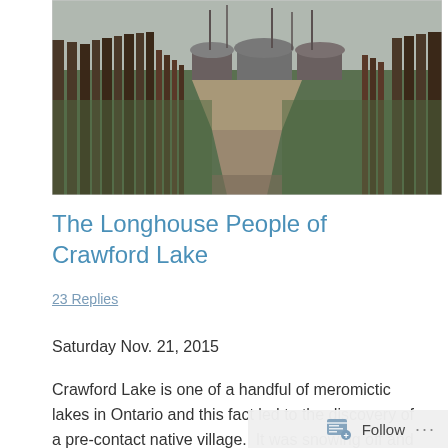[Figure (photo): Outdoor photo of a historical native village reconstruction at Crawford Lake. A dirt path leads between wooden palisade fences and green grass, with longhouse structures visible in the background under an overcast sky.]
The Longhouse People of Crawford Lake
23 Replies
Saturday Nov. 21, 2015
Crawford Lake is one of a handful of meromictic lakes in Ontario and this fact led to the discovery of a pre-contact native village.  It was snowing off and on as I parked in the